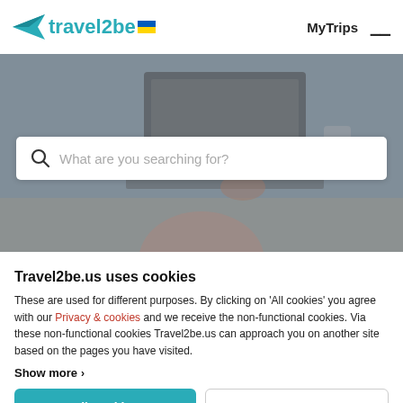travel2be — MyTrips ☰
[Figure (photo): Background photo of a person working on a laptop at a desk, with another person visible behind them, dimmed overlay]
What are you searching for?
Travel2be.us uses cookies
These are used for different purposes. By clicking on 'All cookies' you agree with our Privacy & cookies and we receive the non-functional cookies. Via these non-functional cookies Travel2be.us can approach you on another site based on the pages you have visited.
Show more ›
All cookies
Necessary cookies